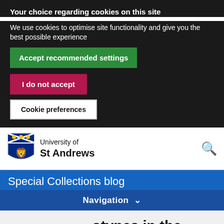Your choice regarding cookies on this site
We use cookies to optimise site functionality and give you the best possible experience
Accept recommended settings
I do not accept
Cookie preferences
[Figure (logo): University of St Andrews shield crest logo]
University of St Andrews
Special Collections blog
Navigation
...otypes in the Special Collections